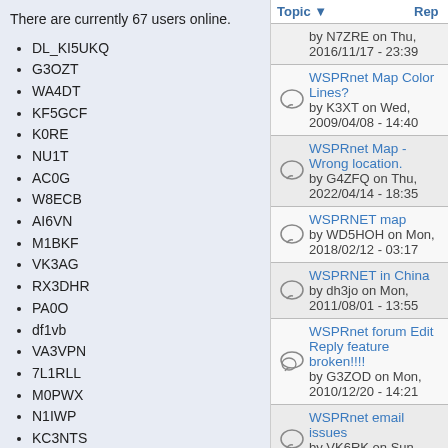There are currently 67 users online.
DL_KI5UKQ
G3OZT
WA4DT
KF5GCF
K0RE
NU1T
AC0G
W8ECB
AI6VN
M1BKF
VK3AG
RX3DHR
PA0O
df1vb
VA3VPN
7L1RLL
M0PWX
N1IWP
KC3NTS
DG7CF
vk2kcm
TA4_G8SCU
WB0OEW
KF5NER
| Topic | Rep |
| --- | --- |
| by N7ZRE on Thu, 2016/11/17 - 23:39 |  |
| WSPRnet Map Color Lines?
by K3XT on Wed, 2009/04/08 - 14:40 |  |
| WSPRnet Map - Wrong location.
by G4ZFQ on Thu, 2022/04/14 - 18:35 |  |
| WSPRNET map
by WD5HOH on Mon, 2018/02/12 - 03:17 |  |
| WSPRNET in China
by dh3jo on Mon, 2011/08/01 - 13:55 |  |
| WSPRnet forum Edit Reply feature broken!!!!
by G3ZOD on Mon, 2010/12/20 - 14:21 |  |
| WSPRnet email issues
by VK6RK on Sun, 2017/09/17 - 09:27 |  |